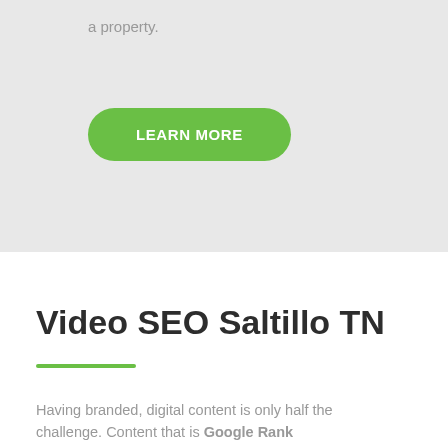a property.
[Figure (other): Green rounded rectangle button with text LEARN MORE]
Video SEO Saltillo TN
Having branded, digital content is only half the challenge. Content that is Google Rank...